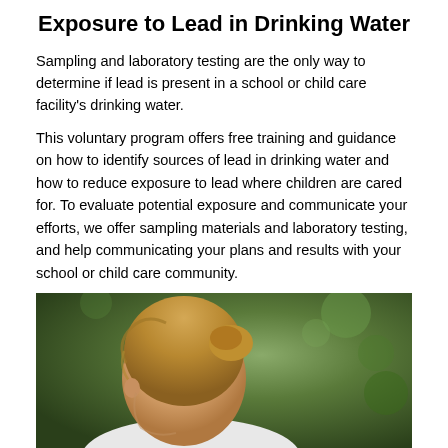Exposure to Lead in Drinking Water
Sampling and laboratory testing are the only way to determine if lead is present in a school or child care facility's drinking water.
This voluntary program offers free training and guidance on how to identify sources of lead in drinking water and how to reduce exposure to lead where children are cared for. To evaluate potential exposure and communicate your efforts, we offer sampling materials and laboratory testing, and help communicating your plans and results with your school or child care community.
Our program is based on the EPA's 3Ts—Training, Testing, and Taking Action
[Figure (photo): Close-up photograph of a young child with light brown hair pulled up, viewed from the side/behind, with a blurred green outdoor background.]